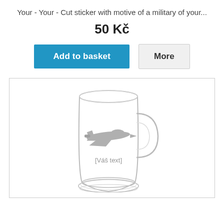Your - Your - Cut sticker with motive of a military of your...
50 Kč
Add to basket | More
[Figure (photo): A clear glass beer mug with an engraved military jet aircraft silhouette and text '[Váš text]' on it, shown on a white background within a light-bordered box.]